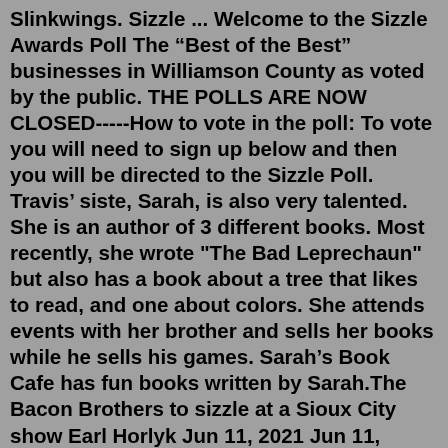Slinkwings. Sizzle ... Welcome to the Sizzle Awards Poll The “Best of the Best” businesses in Williamson County as voted by the public. THE POLLS ARE NOW CLOSED-----How to vote in the poll: To vote you will need to sign up below and then you will be directed to the Sizzle Poll. Travis’ siste, Sarah, is also very talented. She is an author of 3 different books. Most recently, she wrote "The Bad Leprechaun" but also has a book about a tree that likes to read, and one about colors. She attends events with her brother and sells her books while he sells his games. Sarah’s Book Cafe has fun books written by Sarah.The Bacon Brothers to sizzle at a Sioux City show Earl Horlyk Jun 11, 2021 Jun 11, 2021; 0; 1 of 2 Actor Kevin Bacon and his film composer brother Michael Bacon will be performing an eclectic set ...The former sang Ik ben verliefd (about being in love), the latter Op de wip (about being stuck in the middle between a pain-in-the-neck brother and a bossy sister). Marjon left after the fourth album on which she had minor roles in two tracks: Iedereen gaat voor z’n beurt ( Nobody...